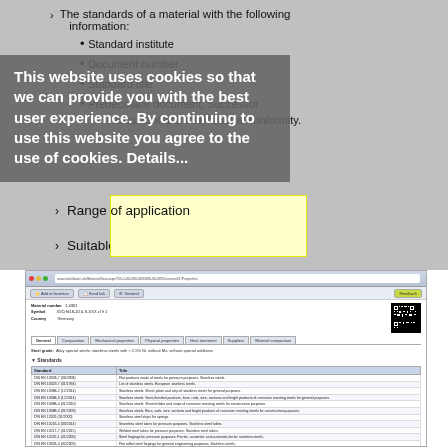The standards of a material with the following information:
Standard institute
Document number
Standard title
Predecessor document, Successor document and international conformity.
This website uses cookies so that we can provide you with the best user experience. By continuing to use this website you agree to the use of cookies. Details...
Range of application
Suitable welding filler materials
[Figure (screenshot): Screenshot of a material database web application showing material details for 1.4301 (X5CrNi18-10), with tabs for General, Composition, Mechanical properties, Physical properties, Heat treatment, Suppliers, Material comparison, and a Standards table listing various DIN EN standards with their titles.]